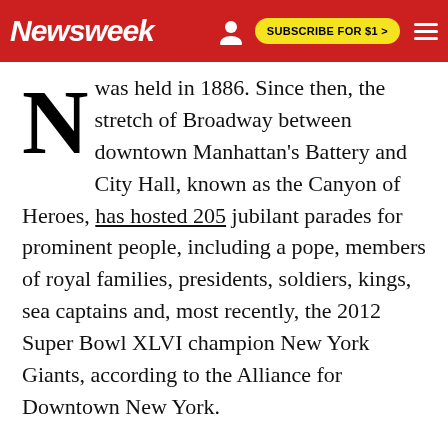Newsweek | SUBSCRIBE FOR $1 >
was held in 1886. Since then, the stretch of Broadway between downtown Manhattan's Battery and City Hall, known as the Canyon of Heroes, has hosted 205 jubilant parades for prominent people, including a pope, members of royal families, presidents, soldiers, kings, sea captains and, most recently, the 2012 Super Bowl XLVI champion New York Giants, according to the Alliance for Downtown New York.